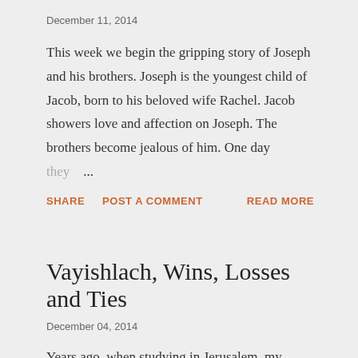December 11, 2014
This week we begin the gripping story of Joseph and his brothers. Joseph is the youngest child of Jacob, born to his beloved wife Rachel. Jacob showers love and affection on Joseph. The brothers become jealous of him. One day they ...
SHARE   POST A COMMENT   READ MORE
Vayishlach, Wins, Losses and Ties
December 04, 2014
Years ago, when studying in Jerusalem, my friend and I skipped an evening lecture to attend a soccer match between Maccabi Tel Aviv and Beitar Yerushalvim. Our teachers were not happy